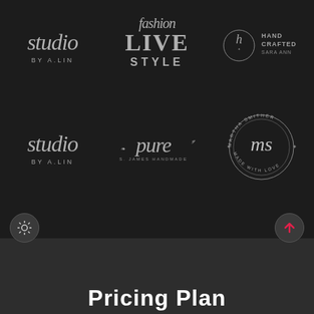[Figure (logo): Studio by A.Lin script logo in grey on dark background]
[Figure (logo): Fashion Lifestyle logo with italic script 'fashion' above bold 'LIVE STYLE' text in grey]
[Figure (logo): Hand Crafted Sara Ann logo with wreath emblem and sans-serif text in grey]
[Figure (logo): Studio by A.Lin script logo (second instance) in grey on dark background]
[Figure (logo): Pure James Handmade logo with decorative script 'pure' and small text in grey]
[Figure (logo): Martha Smither MS badge - circular text 'MARTHA SMITHER' and 'MADE WITH LOVE' around 'ms' script monogram]
[Figure (screenshot): UI controls: sun/brightness icon button on left, up-arrow button on right, on grey bar]
Pricing Plan